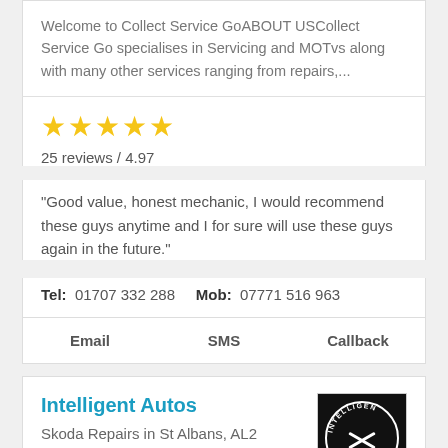Welcome to Collect Service GoABOUT USCollect Service Go specialises in Servicing and MOTÂs along with many other services ranging from repairs,...
[Figure (other): Five gold star rating icons]
25 reviews / 4.97
"Good value, honest mechanic, I would recommend these guys anytime and I for sure will use these guys again in the future."
Tel: 01707 332 288   Mob: 07771 516 963
Email   SMS   Callback
Intelligent Autos
Skoda Repairs in St Albans, AL2
[Figure (logo): Intelligent Autos circular logo on black background]